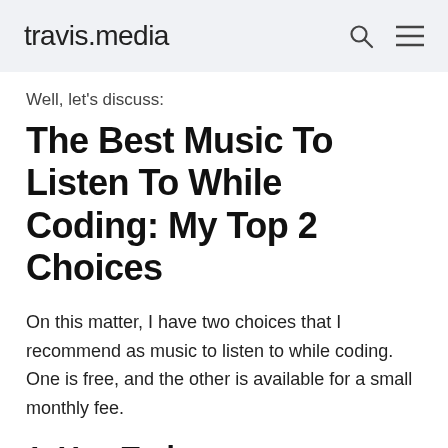travis.media
Well, let's discuss:
The Best Music To Listen To While Coding: My Top 2 Choices
On this matter, I have two choices that I recommend as music to listen to while coding. One is free, and the other is available for a small monthly fee.
1. You Trek...